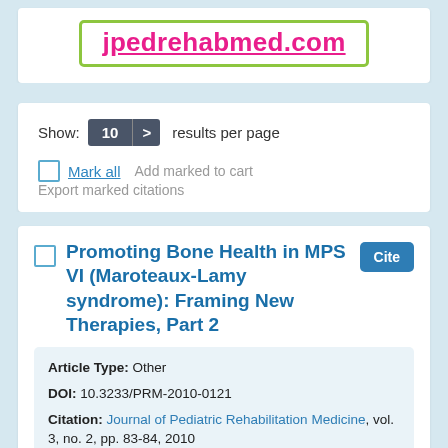[Figure (logo): jpedrehabmed.com website logo in pink/magenta text with green border]
Show: 10 > results per page
Mark all  Add marked to cart  Export marked citations
Promoting Bone Health in MPS VI (Maroteaux-Lamy syndrome): Framing New Therapies, Part 2
Article Type: Other
DOI: 10.3233/PRM-2010-0121
Citation: Journal of Pediatric Rehabilitation Medicine, vol. 3, no. 2, pp. 83-84, 2010